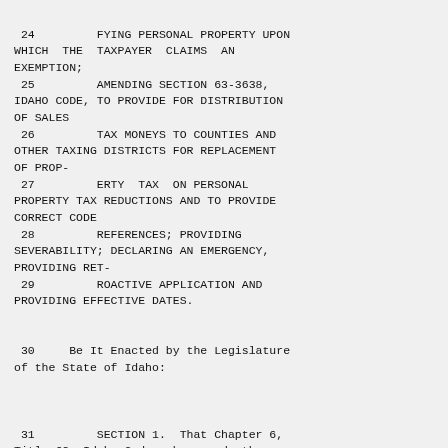24         FYING PERSONAL PROPERTY UPON WHICH  THE  TAXPAYER  CLAIMS  AN EXEMPTION;
25         AMENDING SECTION 63-3638, IDAHO CODE, TO PROVIDE FOR DISTRIBUTION OF SALES
26         TAX MONEYS TO COUNTIES AND OTHER TAXING DISTRICTS FOR REPLACEMENT OF PROP-
27         ERTY  TAX  ON PERSONAL PROPERTY TAX REDUCTIONS AND TO PROVIDE CORRECT CODE
28         REFERENCES; PROVIDING SEVERABILITY; DECLARING AN EMERGENCY, PROVIDING RET-
29         ROACTIVE APPLICATION AND PROVIDING EFFECTIVE DATES.
30     Be It Enacted by the Legislature of the State of Idaho:
31         SECTION 1.  That Chapter 6, Title 63, Idaho Code,  be,  and  the same is